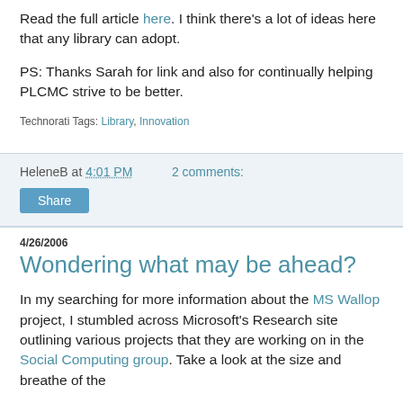Read the full article here. I think there's a lot of ideas here that any library can adopt.
PS: Thanks Sarah for link and also for continually helping PLCMC strive to be better.
Technorati Tags: Library, Innovation
HeleneB at 4:01 PM    2 comments:
Share
4/26/2006
Wondering what may be ahead?
In my searching for more information about the MS Wallop project, I stumbled across Microsoft's Research site outlining various projects that they are working on in the Social Computing group. Take a look at the size and breathe of the